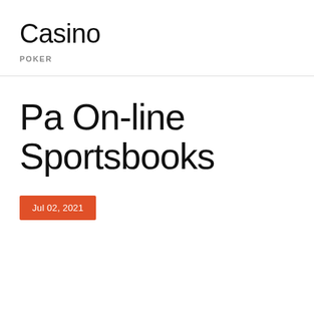Casino
POKER
Pa On-line Sportsbooks
Jul 02, 2021